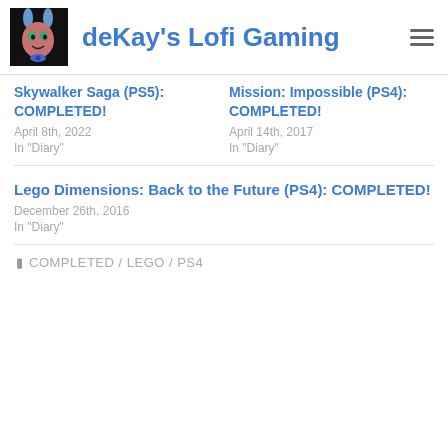deKay's Lofi Gaming
Skywalker Saga (PS5): COMPLETED!
April 8th, 2022
In "Diary"
Mission: Impossible (PS4): COMPLETED!
April 14th, 2017
In "Diary"
Lego Dimensions: Back to the Future (PS4): COMPLETED!
December 26th, 2016
In "Diary"
COMPLETED / LEGO / PS4